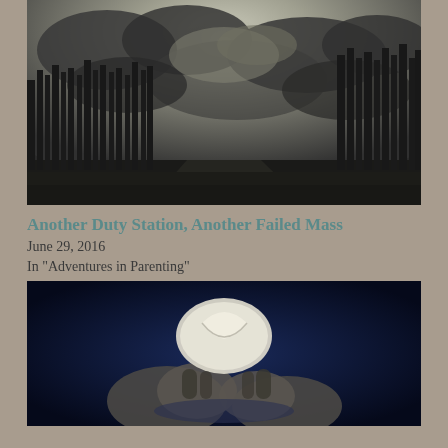[Figure (photo): Dark moody landscape photo showing bare winter trees silhouetted against a dramatic cloudy sky with sun breaking through clouds, road visible in lower left]
Another Duty Station, Another Failed Mass
June 29, 2016
In "Adventures in Parenting"
[Figure (photo): Dark blue-toned close-up photo of hands holding or breaking a communion host/wafer against a deep blue background]